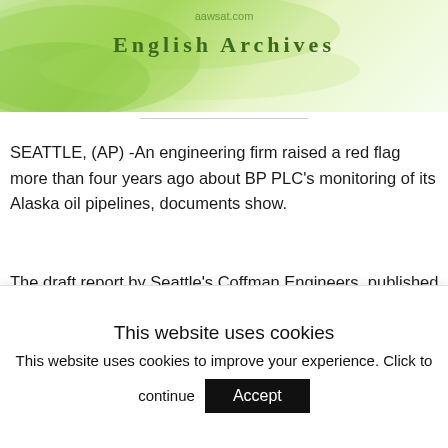aawsat.com
English Archives
SEATTLE, (AP) -An engineering firm raised a red flag more than four years ago about BP PLC's monitoring of its Alaska oil pipelines, documents show.
The draft report by Seattle's Coffman Engineers, published in November 2001, is among documents being reviewed by a federal grand jury in Anchorage that is investigating a March oil spill of more than 200,000 gallons from a pipe on the western side of the
This website uses cookies
This website uses cookies to improve your experience. Click to continue
Accept